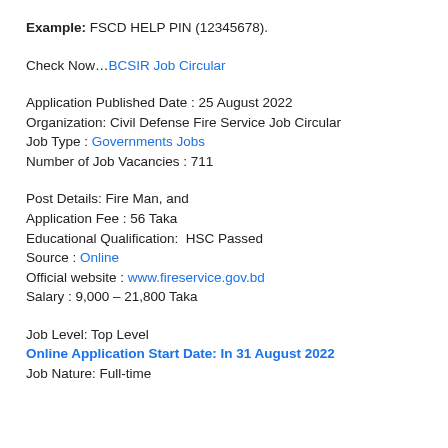Example: FSCD HELP PIN (12345678).
Check Now…BCSIR Job Circular
Application Published Date : 25 August 2022
Organization: Civil Defense Fire Service Job Circular
Job Type : Governments Jobs
Number of Job Vacancies : 711
Post Details: Fire Man, and
Application Fee : 56 Taka
Educational Qualification:  HSC Passed
Source : Online
Official website : www.fireservice.gov.bd
Salary : 9,000 – 21,800 Taka
Job Level: Top Level
Online Application Start Date: In 31 August 2022
Job Nature: Full-time